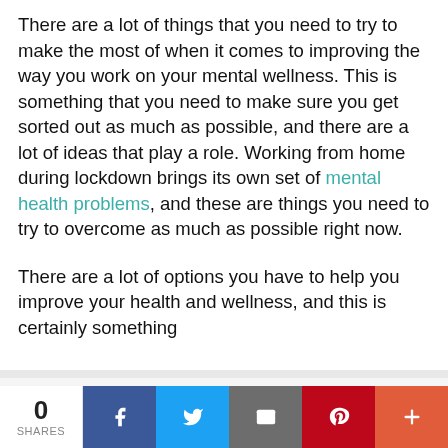There are a lot of things that you need to try to make the most of when it comes to improving the way you work on your mental wellness. This is something that you need to make sure you get sorted out as much as possible, and there are a lot of ideas that play a role. Working from home during lockdown brings its own set of mental health problems, and these are things you need to try to overcome as much as possible right now.

There are a lot of options you have to help you improve your health and wellness, and this is certainly something
We use cookies on our website to give you the most relevant
Privacy & Cookies: This site uses cookies. By continuing to use this website, you agree to their use.
To find out more, including how to control cookies, see here: Cookie Policy
0 SHARES | Facebook | Twitter | Email | Pinterest | More